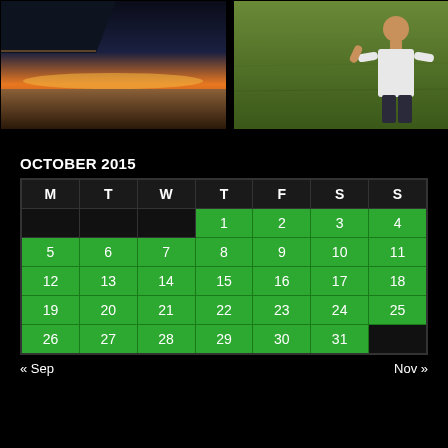[Figure (photo): View from airplane window showing wing, horizon at sunset with orange sky and dark landscape below]
[Figure (photo): Person in white shirt standing on green grass field, viewed from behind]
OCTOBER 2015
| M | T | W | T | F | S | S |
| --- | --- | --- | --- | --- | --- | --- |
|  |  |  | 1 | 2 | 3 | 4 |
| 5 | 6 | 7 | 8 | 9 | 10 | 11 |
| 12 | 13 | 14 | 15 | 16 | 17 | 18 |
| 19 | 20 | 21 | 22 | 23 | 24 | 25 |
| 26 | 27 | 28 | 29 | 30 | 31 |  |
« Sep    Nov »